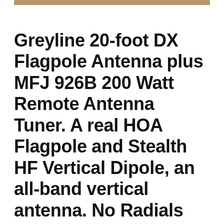Greyline 20-foot DX Flagpole Antenna plus MFJ 926B 200 Watt Remote Antenna Tuner. A real HOA Flagpole and Stealth HF Vertical Dipole, an all-band vertical antenna. No Radials needed from